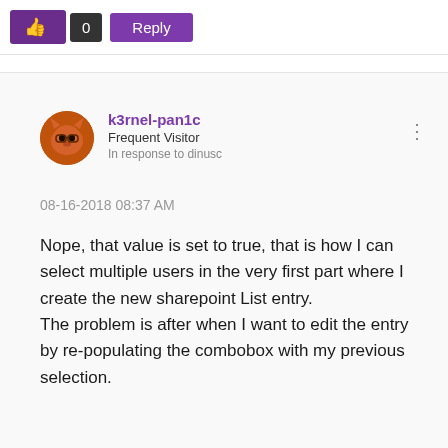[Figure (screenshot): Forum post UI with thumbs-up vote button (purple), vote count 0 (dark), and Reply button (purple)]
k3rnel-pan1c
Frequent Visitor
In response to dinusc
08-16-2018 08:37 AM
Nope, that value is set to true, that is how I can select multiple users in the very first part where I create the new sharepoint List entry.
The problem is after when I want to edit the entry by re-populating the combobox with my previous selection.